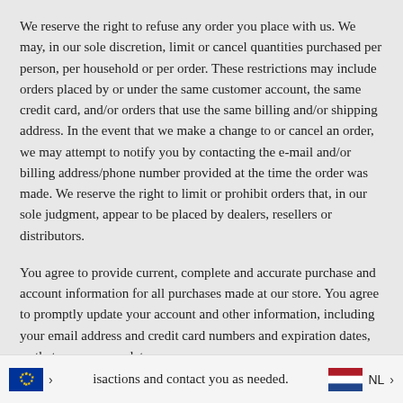We reserve the right to refuse any order you place with us. We may, in our sole discretion, limit or cancel quantities purchased per person, per household or per order. These restrictions may include orders placed by or under the same customer account, the same credit card, and/or orders that use the same billing and/or shipping address. In the event that we make a change to or cancel an order, we may attempt to notify you by contacting the e-mail and/or billing address/phone number provided at the time the order was made. We reserve the right to limit or prohibit orders that, in our sole judgment, appear to be placed by dealers, resellers or distributors.
You agree to provide current, complete and accurate purchase and account information for all purchases made at our store. You agree to promptly update your account and other information, including your email address and credit card numbers and expiration dates, so that we can complete transactions and contact you as needed.
transactions and contact you as needed.